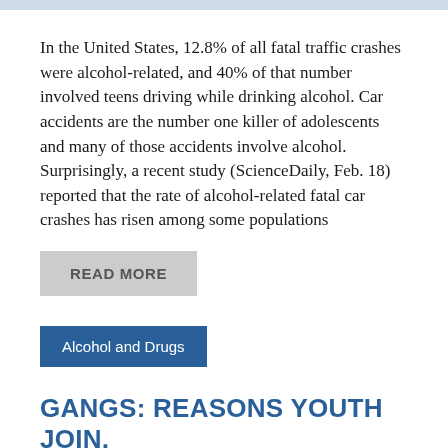In the United States, 12.8% of all fatal traffic crashes were alcohol-related, and 40% of that number involved teens driving while drinking alcohol. Car accidents are the number one killer of adolescents and many of those accidents involve alcohol. Surprisingly, a recent study (ScienceDaily, Feb. 18) reported that the rate of alcohol-related fatal car crashes has risen among some populations
READ MORE
Alcohol and Drugs
GANGS: REASONS YOUTH JOIN, WARNING SIGNS AND PREVENTION